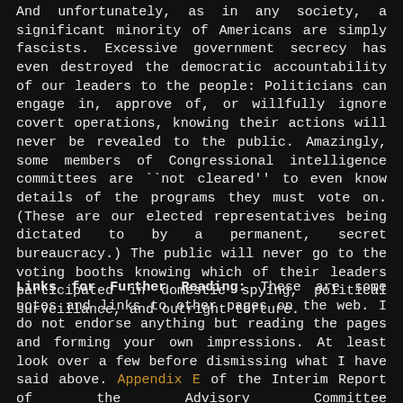And unfortunately, as in any society, a significant minority of Americans are simply fascists. Excessive government secrecy has even destroyed the democratic accountability of our leaders to the people: Politicians can engage in, approve of, or willfully ignore covert operations, knowing their actions will never be revealed to the public. Amazingly, some members of Congressional intelligence committees are ``not cleared'' to even know details of the programs they must vote on. (These are our elected representatives being dictated to by a permanent, secret bureaucracy.) The public will never go to the voting booths knowing which of their leaders participated in domestic spying, political surveillance, and outright torture.
Links for Further Reading: These are some notes and links to other pages on the web. I do not endorse anything but reading the pages and forming your own impressions. At least look over a few before dismissing what I have said above. Appendix E of the Interim Report of the Advisory Committee on http://www.gwu.edu/~nsarchiv/radiation/ Human Radiation Experiments. This appendix gives a summary of the records retrieval process by various U.S. government agencies. It also has some brief summaries of